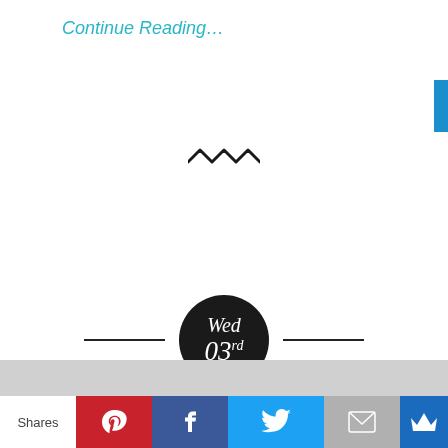Continue Reading…
[Figure (illustration): Decorative squiggle/wave divider symbol]
[Figure (illustration): Black circle badge with white italic text: Wed 03rd]
Holiness for Housewives: A Review #WorthRevist
Posted by Lorelei — 2 Comments
[Figure (infographic): Social share bar with Pinterest, Facebook, Twitter, Email, and crown/bookmark buttons. Label: Shares]